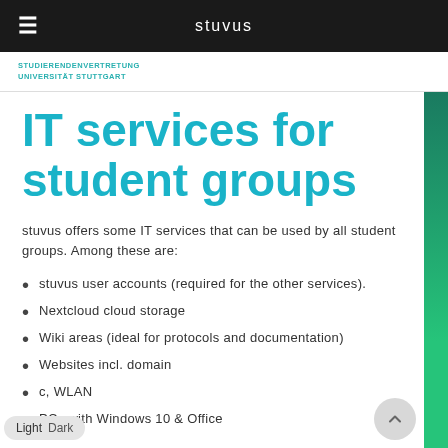stuvus
[Figure (logo): STUDIERENDENVERTRETUNG UNIVERSITAT STUTTGART logo text in teal]
IT services for student groups
stuvus offers some IT services that can be used by all student groups. Among these are:
stuvus user accounts (required for the other services).
Nextcloud cloud storage
Wiki areas (ideal for protocols and documentation)
Websites incl. domain
c, WLAN
PCs with Windows 10 & Office